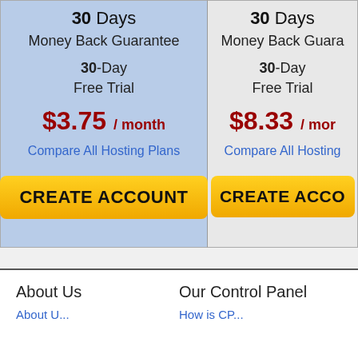30 Days
Money Back Guarantee
30-Day
Free Trial
$3.75 / month
Compare All Hosting Plans
CREATE ACCOUNT
30 Days
Money Back Guara...
30-Day
Free Trial
$8.33 / mor...
Compare All Hosting...
CREATE ACCO...
About Us
Our Control Panel
About U...